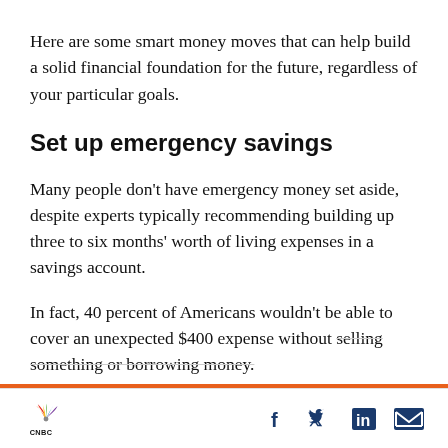Here are some smart money moves that can help build a solid financial foundation for the future, regardless of your particular goals.
Set up emergency savings
Many people don’t have emergency money set aside, despite experts typically recommending building up three to six months’ worth of living expenses in a savings account.
In fact, 40 percent of Americans wouldn’t be able to cover an unexpected $400 expense without selling something or borrowing money.
[Figure (logo): CNBC logo with peacock symbol]
[Figure (infographic): Social media sharing icons: Facebook, Twitter, LinkedIn, Email]